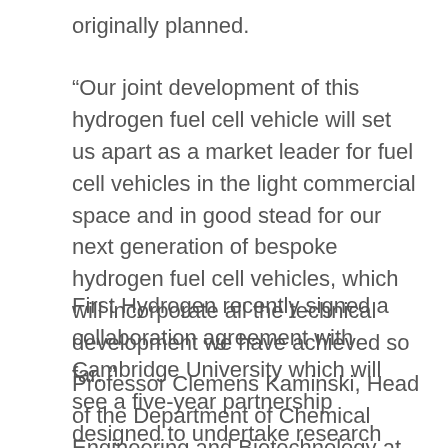originally planned.
“Our joint development of this hydrogen fuel cell vehicle will set us apart as a market leader for fuel cell vehicles in the light commercial space and in good stead for our next generation of bespoke hydrogen fuel cell vehicles, which will incorporate all the technical development we have achieved so far.”
First Hydrogen recently signed a collaboration agreement with Cambridge University which will see a five-year partnership designed to undertake research projects into hydrogen production and mobility.
Professor Clemens Kaminski, Head of the Department of Chemical Engineering and Biotechnology at the University of Cambridge, says: “This partnership